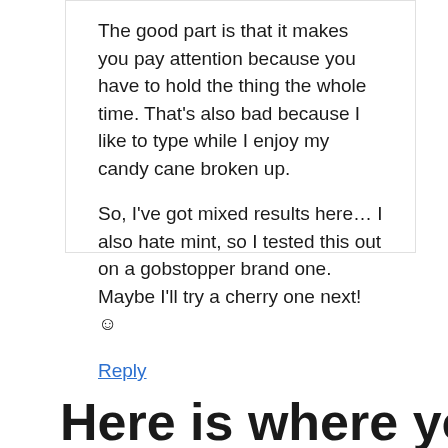The good part is that it makes you pay attention because you have to hold the thing the whole time. That's also bad because I like to type while I enjoy my candy cane broken up.
So, I've got mixed results here… I also hate mint, so I tested this out on a gobstopper brand one. Maybe I'll try a cherry one next! ☺
Reply
Here is where you put the